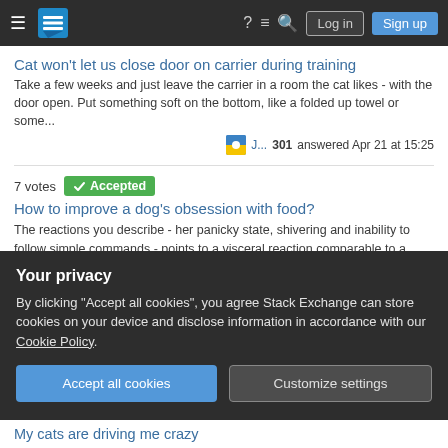Stack Exchange navigation bar with logo, icons, Log in and Sign up buttons
Cat won't let us close door on carrier during training
Take a few weeks and just leave the carrier in a room the cat likes - with the door open. Put something soft on the bottom, like a folded up towel or some...
J...  301  answered Apr 21 at 15:25
7 votes  Accepted
How to improve a dog's obsession with food?
The reactions you describe - her panicky state, shivering and inability to follow simple commands - points to a visceral reaction comparable to a panic attac...
Elmy ♦28.9k  answered Dec 20, 2021 at 17:14
4 votes
Your privacy
By clicking "Accept all cookies", you agree Stack Exchange can store cookies on your device and disclose information in accordance with our Cookie Policy.
Accept all cookies
Customize settings
My cats are driving me crazy